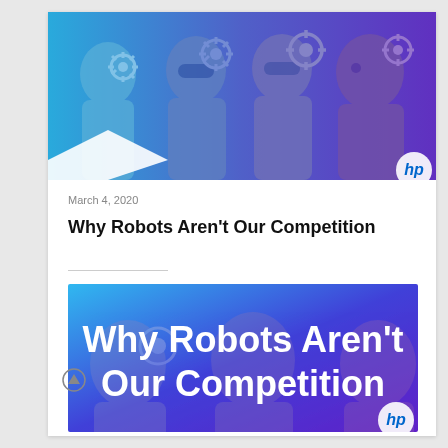[Figure (illustration): HP branded hero image showing silhouetted robot/human head profiles with gear/cog motifs in blue-to-purple gradient, HP logo bottom right]
March 4, 2020
Why Robots Aren't Our Competition
[Figure (illustration): HP branded presentation slide thumbnail with blue-to-purple gradient background, silhouetted robot head profiles with gears, white bold text reading 'Why Robots Aren't Our Competition', HP logo bottom right]